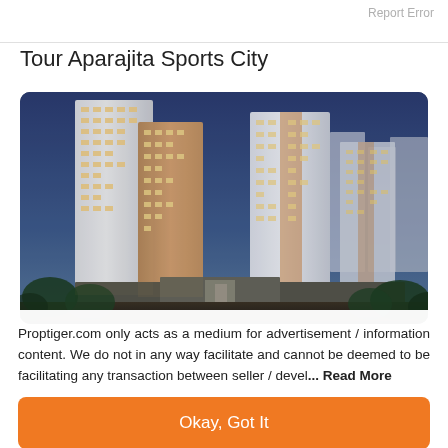Report Error
Tour Aparajita Sports City
[Figure (photo): Exterior rendering of Aparajita Sports City residential towers at dusk, multiple high-rise buildings with lit windows against a blue evening sky, trees in foreground.]
Proptiger.com only acts as a medium for advertisement / information content. We do not in any way facilitate and cannot be deemed to be facilitating any transaction between seller / devel... Read More
Okay, Got It